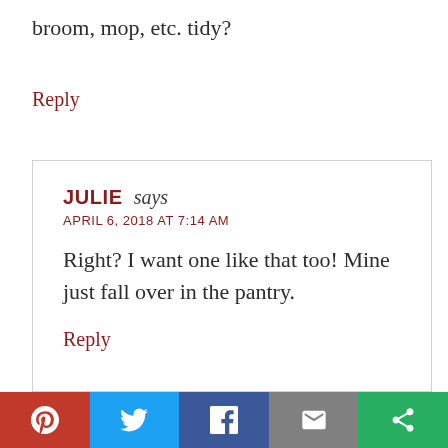broom, mop, etc. tidy?
Reply
JULIE says
APRIL 6, 2018 AT 7:14 AM
Right? I want one like that too! Mine just fall over in the pantry.
Reply